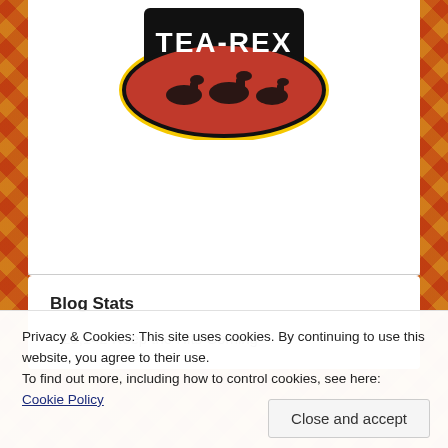[Figure (logo): Tea-Rex logo: black shield shape with 'TEA-REX' text in bold white/yellow letters, red background with dinosaur silhouettes, yellow circle border]
Blog Stats
28,142 Keep the Hits Coming
Privacy & Cookies: This site uses cookies. By continuing to use this website, you agree to their use.
To find out more, including how to control cookies, see here: Cookie Policy
Close and accept